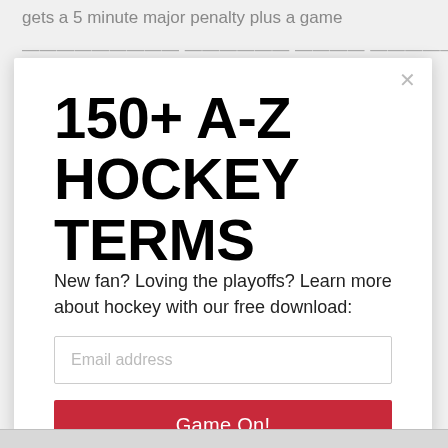gets a 5 minute major penalty plus a game
misconduct. this means they get kicked out of the
150+ A-Z HOCKEY TERMS
New fan? Loving the playoffs? Learn more about hockey with our free download:
Email address
Game On!